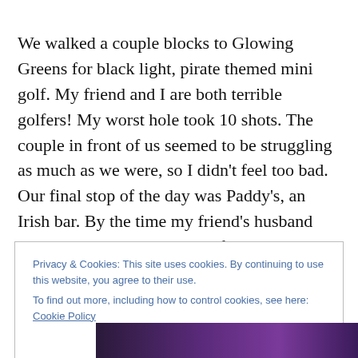We walked a couple blocks to Glowing Greens for black light, pirate themed mini golf. My friend and I are both terrible golfers! My worst hole took 10 shots. The couple in front of us seemed to be struggling as much as we were, so I didn't feel too bad. Our final stop of the day was Paddy's, an Irish bar. By the time my friend's husband met us there, we were ready for a nap! We went home and flopped on the couch until the husband roused us for a
Privacy & Cookies: This site uses cookies. By continuing to use this website, you agree to their use.
To find out more, including how to control cookies, see here: Cookie Policy
[Figure (photo): Partial view of a photo at the bottom of the page showing a purple/black-lit scene]